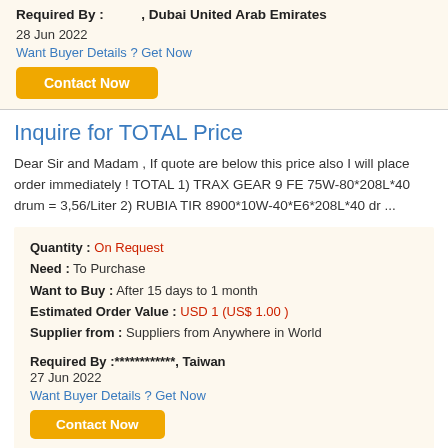Required By : **********, Dubai United Arab Emirates
28 Jun 2022
Want Buyer Details ? Get Now
Contact Now
Inquire for TOTAL Price
Dear Sir and Madam , If quote are below this price also I will place order immediately ! TOTAL 1) TRAX GEAR 9 FE 75W-80*208L*40 drum = 3,56/Liter 2) RUBIA TIR 8900*10W-40*E6*208L*40 dr ...
Quantity : On Request
Need : To Purchase
Want to Buy : After 15 days to 1 month
Estimated Order Value : USD 1 (US$ 1.00 )
Supplier from : Suppliers from Anywhere in World
Required By :************, Taiwan
27 Jun 2022
Want Buyer Details ? Get Now
Contact Now
TOTAL OIL